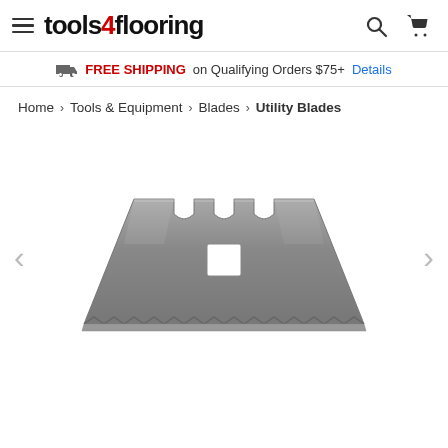tools4flooring
FREE SHIPPING on Qualifying Orders $75+ Details
Home > Tools & Equipment > Blades > Utility Blades
[Figure (photo): A trapezoidal utility/box cutter replacement blade, silver/grey metal, with two semi-circular notches and one rectangular hole at top center, serrated bottom edge. Navigation arrows on left and right sides.]